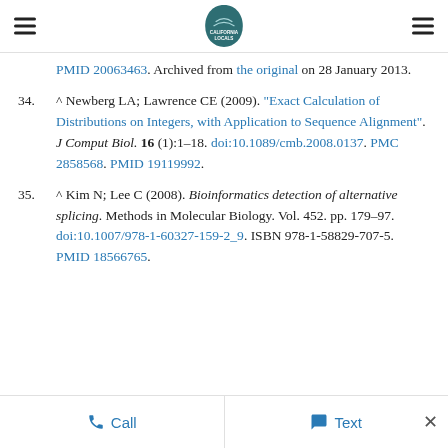California Locals logo with hamburger menu icons
PMID 20063463. Archived from the original on 28 January 2013.
34. ^ Newberg LA; Lawrence CE (2009). "Exact Calculation of Distributions on Integers, with Application to Sequence Alignment". J Comput Biol. 16 (1):1–18. doi:10.1089/cmb.2008.0137. PMC 2858568. PMID 19119992.
35. ^ Kim N; Lee C (2008). Bioinformatics detection of alternative splicing. Methods in Molecular Biology. Vol. 452. pp. 179–97. doi:10.1007/978-1-60327-159-2_9. ISBN 978-1-58829-707-5. PMID 18566765.
Call  Text